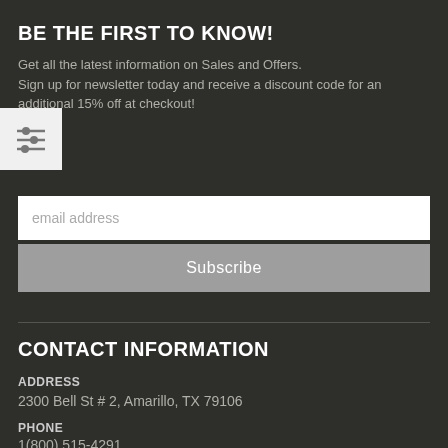BE THE FIRST TO KNOW!
Get all the latest information on Sales and Offers.
Sign up for newsletter today and receive a discount code for an additional 15% off at checkout!
[Figure (illustration): Filter/settings icon — three horizontal sliders on a light grey square background]
email address
Subscribe
CONTACT INFORMATION
ADDRESS
2300 Bell St # 2, Amarillo, TX 79106
PHONE
1(800) 515-4291